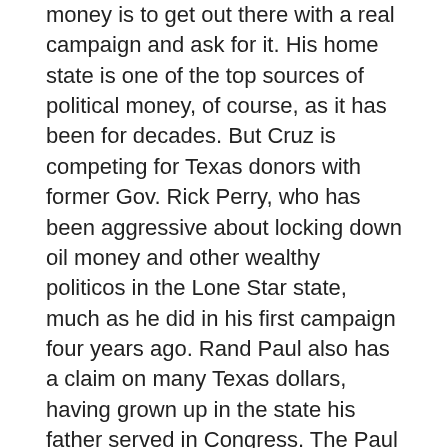money is to get out there with a real campaign and ask for it. His home state is one of the top sources of political money, of course, as it has been for decades. But Cruz is competing for Texas donors with former Gov. Rick Perry, who has been aggressive about locking down oil money and other wealthy politicos in the Lone Star state, much as he did in his first campaign four years ago. Rand Paul also has a claim on many Texas dollars, having grown up in the state his father served in Congress. The Paul name is still highly revered by many Texas conservatives. Jeb Bush and other candidates will also find adherents here, so Cruz needs to defend his home court aggressively.
3. Skipping the "exploratory committee" phase cuts through the usual persiflage that